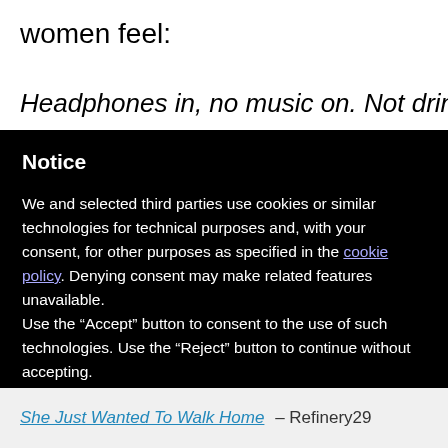women feel:
Headphones in, no music on. Not drinking too
Notice
We and selected third parties use cookies or similar technologies for technical purposes and, with your consent, for other purposes as specified in the cookie policy. Denying consent may make related features unavailable.
Use the “Accept” button to consent to the use of such technologies. Use the “Reject” button to continue without accepting.
Reject
Accept
Learn more and customize
She Just Wanted To Walk Home – Refinery29